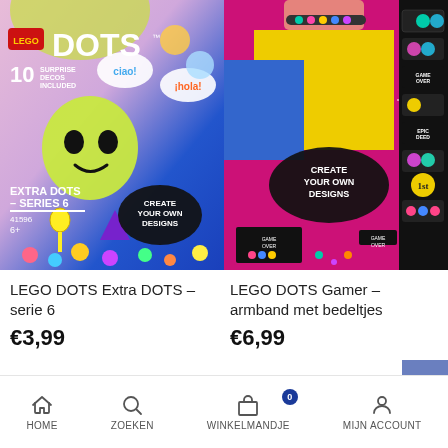[Figure (photo): LEGO DOTS Extra DOTS Serie 6 product packaging - colorful blue and pink bag with emoji stickers, alien character, key, heart shapes, 'CREATE YOUR OWN DESIGNS' cloud bubble, 10 SURPRISE DECOS INCLUDED text, age 6+]
[Figure (photo): LEGO DOTS Gamer armband met bedeltjes product - pink/purple background showing a bracelet on a child's wrist, 'CREATE YOUR OWN DESIGNS' bubble, colorful gaming-themed tile designs on display strip]
LEGO DOTS Extra DOTS – serie 6
€3,99
LEGO DOTS Gamer – armband met bedeltjes
€6,99
HOME  ZOEKEN  WINKELMANDJE  MIJN ACCOUNT